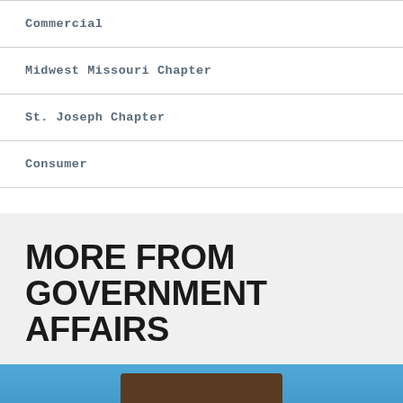| Commercial |
| Midwest Missouri Chapter |
| St. Joseph Chapter |
| Consumer |
MORE FROM GOVERNMENT AFFAIRS
[Figure (photo): Photo strip showing a person against a blue sky background, partially visible at the bottom of the page]